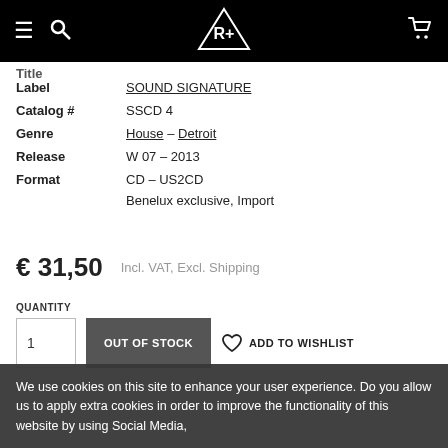Navigation header with menu, search, logo, and cart icons
Label: SOUND SIGNATURE
Catalog #: SSCD 4
Genre: House – Detroit
Release: W 07 – 2013
Format: CD – US2CD
Benelux exclusive, Import
€ 31,50  Incl. VAT, Excl. Shipping
QUANTITY
OUT OF STOCK
ADD TO WISHLIST
We use cookies on this site to enhance your user experience. Do you allow us to apply extra cookies in order to improve the functionality of this website by using Social Media,